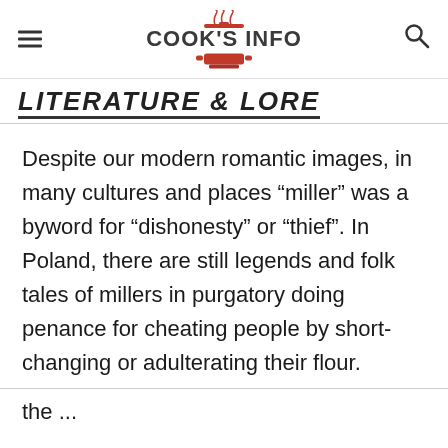COOK'S INFO
LITERATURE & LORE
Despite our modern romantic images, in many cultures and places “miller” was a byword for “dishonesty” or “thief”. In Poland, there are still legends and folk tales of millers in purgatory doing penance for cheating people by short-changing or adulterating their flour.
...